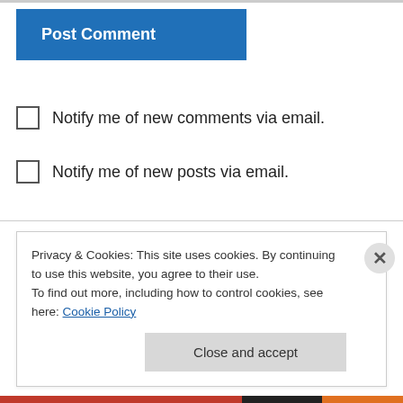[Figure (other): Post Comment button - blue rectangle with white bold text]
Notify me of new comments via email.
Notify me of new posts via email.
Mark on September 26, 2014 at 2:36 pm
You share interesting things here. I think that your page can go viral
Privacy & Cookies: This site uses cookies. By continuing to use this website, you agree to their use.
To find out more, including how to control cookies, see here: Cookie Policy
Close and accept